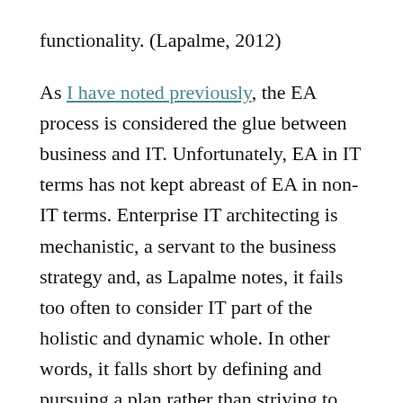functionality. (Lapalme, 2012)
As I have noted previously, the EA process is considered the glue between business and IT. Unfortunately, EA in IT terms has not kept abreast of EA in non-IT terms. Enterprise IT architecting is mechanistic, a servant to the business strategy and, as Lapalme notes, it fails too often to consider IT part of the holistic and dynamic whole. In other words, it falls short by defining and pursuing a plan rather than striving to support and drive continuous change.
Service oriented architecture (SOA) has emerged in response, defined by Microsoft broadly as "a loosely-coupled architecture designed to meet the